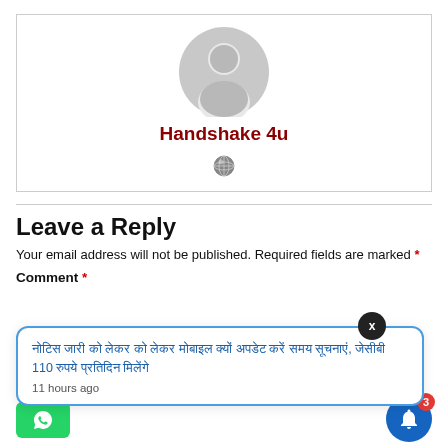[Figure (illustration): Grey default user avatar (circle with person silhouette inside)]
Handshake 4u
[Figure (illustration): Small globe/world icon]
Leave a Reply
Your email address will not be published. Required fields are marked *
Comment *
नोटिस जारी को लेकर को लेकर मोबाइल क्यों अपडेट करें समय सूचनाएं, जेसीबी 110 रुपये प्रतिदिन मिलेंगे
11 hours ago